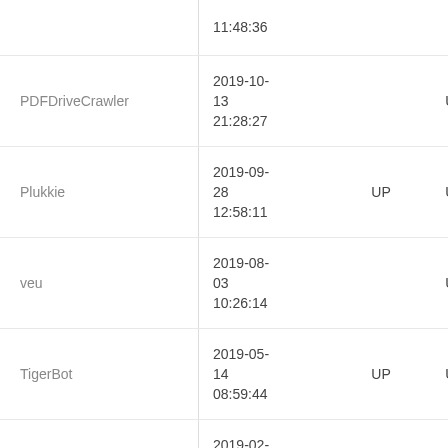| Name | Date | Status1 | Status2 |
| --- | --- | --- | --- |
| PDFDriveCrawler | 2019-10-13 21:28:27 |  | UP |
| Plukkie | 2019-09-28 12:58:11 | UP | UP |
| veu | 2019-08-03 10:26:14 |  | UP |
| TigerBot | 2019-05-14 08:59:44 | UP | UP |
| Burf.co | 2019-02-28 17:55:49 | UP | UP |
| yoozBot | 2019-01-04 20:53:30 |  | UP |
| Sosospider | 2018-10-17 10:11:54 | UP | UP |
| Findxbot | 2018-09-26 08:28:56 | UP | Down |
| CarianBot | 2018-08-01 13:00:29 |  | UP |